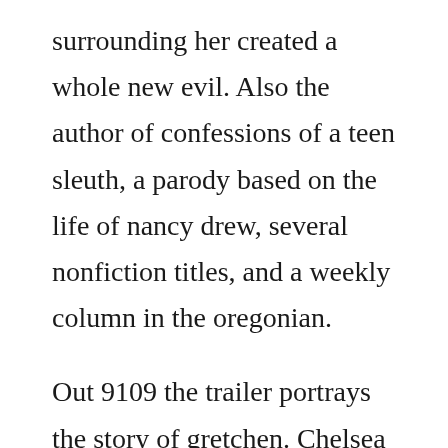surrounding her created a whole new evil. Also the author of confessions of a teen sleuth, a parody based on the life of nancy drew, several nonfiction titles, and a weekly column in the oregonian.
Out 9109 the trailer portrays the story of gretchen. Chelsea cains novels featuring portland detective archie sheridan and serial killer. Buy evil at heart book online at low prices in india. Notable works, sweetheart, heartsick, evil at heart. Chelsea cain begun her writing career back in 1996 when she was